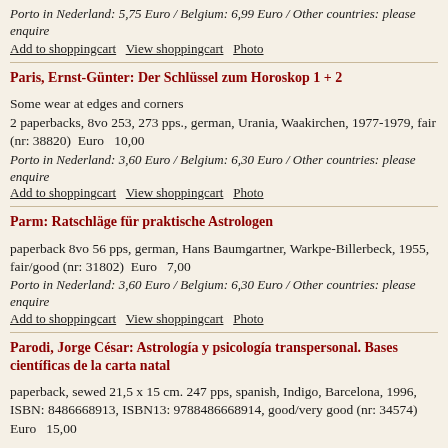Porto in Nederland: 5,75 Euro / Belgium: 6,99 Euro / Other countries: please enquire
Add to shoppingcart   View shoppingcart   Photo
Paris, Ernst-Günter: Der Schlüssel zum Horoskop 1 + 2
Some wear at edges and corners
2 paperbacks, 8vo 253, 273 pps., german, Urania, Waakirchen, 1977-1979, fair (nr: 38820)  Euro   10,00
Porto in Nederland: 3,60 Euro / Belgium: 6,30 Euro / Other countries: please enquire
Add to shoppingcart   View shoppingcart   Photo
Parm: Ratschläge für praktische Astrologen
paperback 8vo 56 pps, german, Hans Baumgartner, Warkpe-Billerbeck, 1955, fair/good (nr: 31802)  Euro   7,00
Porto in Nederland: 3,60 Euro / Belgium: 6,30 Euro / Other countries: please enquire
Add to shoppingcart   View shoppingcart   Photo
Parodi, Jorge César: Astrología y psicología transpersonal. Bases científicas de la carta natal
paperback, sewed 21,5 x 15 cm. 247 pps, spanish, Indigo, Barcelona, 1996, ISBN: 8486668913, ISBN13: 9788486668914, good/very good (nr: 34574)  Euro   15,00